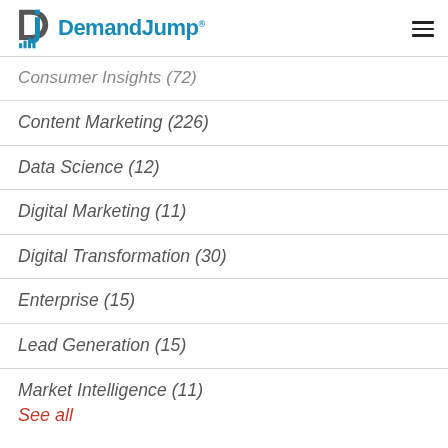DemandJump
Consumer Insights (72)
Content Marketing (226)
Data Science (12)
Digital Marketing (11)
Digital Transformation (30)
Enterprise (15)
Lead Generation (15)
Market Intelligence (11)
See all